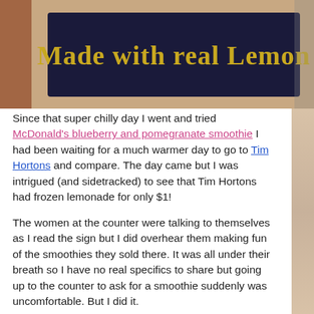[Figure (photo): Photo of a dark navy sign with gold text reading 'Made with real Lemon', partially visible at the top of the page. Background food/drink imagery visible on the sides.]
Since that super chilly day I went and tried McDonald's blueberry and pomegranate smoothie I had been waiting for a much warmer day to go to Tim Hortons and compare. The day came but I was intrigued (and sidetracked) to see that Tim Hortons had frozen lemonade for only $1!
The women at the counter were talking to themselves as I read the sign but I did overhear them making fun of the smoothies they sold there. It was all under their breath so I have no real specifics to share but going up to the counter to ask for a smoothie suddenly was uncomfortable. But I did it.
They looked at each other for a second. One woman pointed to the frozen lemonade sign and asked if I wanted to try that instead. To be honest? I did. I relented because I love